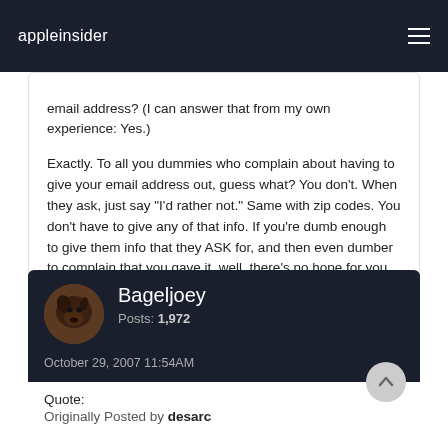appleinsider
email address? (I can answer that from my own experience: Yes.)

Exactly. To all you dummies who complain about having to give your email address out, guess what? You don't. When they ask, just say "I'd rather not." Same with zip codes. You don't have to give any of that info. If you're dumb enough to give them info that they ASK for, and then even dumber to complain that you gave it, well, there's no hope for you.
Bageljoey
Posts: 1,972
October 29, 2007 11:54AM
Quote:
Originally Posted by desarc